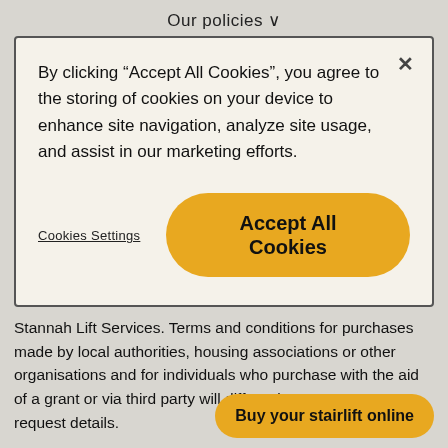Our policies ∨
By clicking “Accept All Cookies”, you agree to the storing of cookies on your device to enhance site navigation, analyze site usage, and assist in our marketing efforts.
Cookies Settings
Accept All Cookies
Stannah Lift Services. Terms and conditions for purchases made by local authorities, housing associations or other organisations and for individuals who purchase with the aid of a grant or via third party will differ. Please contact us to request details.
Buy your stairlift online